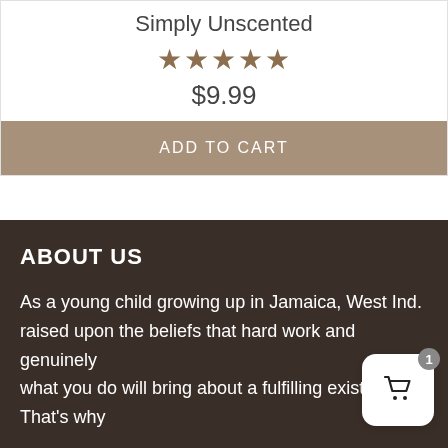Simply Unscented
[Figure (other): Five brown star rating icons]
$9.99
ADD TO CART
ABOUT US
As a young child growing up in Jamaica, West Ind. raised upon the beliefs that hard work and genuinely what you do will bring about a fulfilling existence. That's why
[Figure (other): Shopping cart widget button with badge showing 1 item]